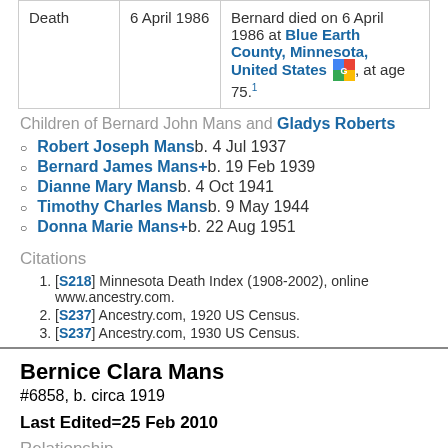| Event | Date | Description |
| --- | --- | --- |
| Death | 6 April 1986 | Bernard died on 6 April 1986 at Blue Earth County, Minnesota, United States, at age 75.¹ |
Children of Bernard John Mans and Gladys Roberts
Robert Joseph Mans b. 4 Jul 1937
Bernard James Mans+ b. 19 Feb 1939
Dianne Mary Mans b. 4 Oct 1941
Timothy Charles Mans b. 9 May 1944
Donna Marie Mans+ b. 22 Aug 1951
Citations
[S218] Minnesota Death Index (1908-2002), online www.ancestry.com.
[S237] Ancestry.com, 1920 US Census.
[S237] Ancestry.com, 1930 US Census.
Bernice Clara Mans
#6858, b. circa 1919
Last Edited=25 Feb 2010
Relationship